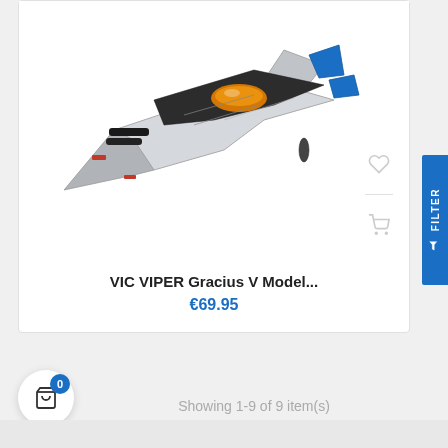[Figure (photo): Product photo of VIC VIPER Gracius V Model spaceship toy — white and black sci-fi fighter jet with blue and orange accents, shown at an angle]
VIC VIPER Gracius V Model...
€69.95
Showing 1-9 of 9 item(s)